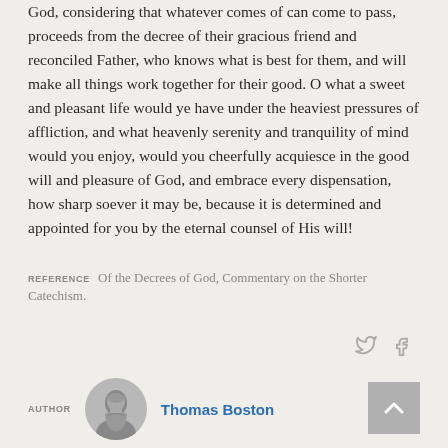God, considering that whatever comes of can come to pass, proceeds from the decree of their gracious friend and reconciled Father, who knows what is best for them, and will make all things work together for their good. O what a sweet and pleasant life would ye have under the heaviest pressures of affliction, and what heavenly serenity and tranquility of mind would you enjoy, would you cheerfully acquiesce in the good will and pleasure of God, and embrace every dispensation, how sharp soever it may be, because it is determined and appointed for you by the eternal counsel of His will!
REFERENCE   Of the Decrees of God, Commentary on the Shorter Catechism.
AUTHOR   Thomas Boston
[Figure (photo): Circular portrait of Thomas Boston in black and white, showing a man in historical clerical dress]
[Figure (other): Back to top button with upward arrow]